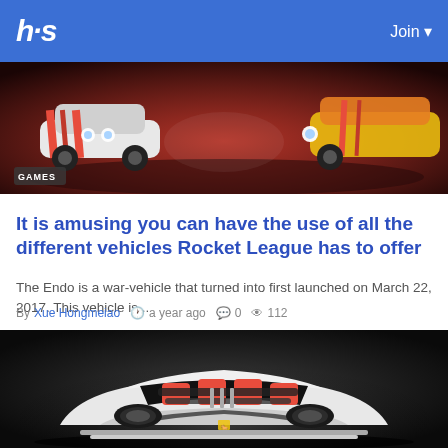hs   Join
[Figure (photo): Rocket League game screenshot showing colorful cars with a GAMES badge overlay]
It is amusing you can have the use of all the different vehicles Rocket League has to offer
The Endo is a war-vehicle that turned into first launched on March 22, 2017. This vehicle is...
By Xue Hongmeiao  a year ago  0  112
[Figure (photo): Ferrari sports car with hood open showing red engine components, front view in black and white]